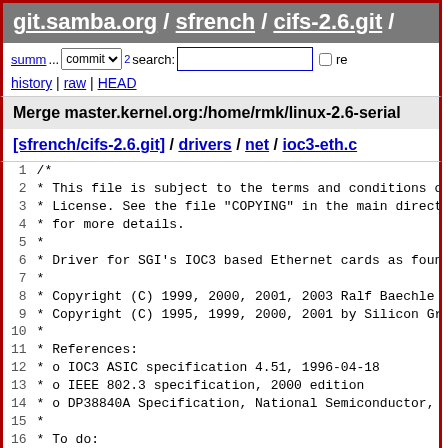git.samba.org / sfrench / cifs-2.6.git /
summ... commit log search: re history | raw | HEAD
Merge master.kernel.org:/home/rmk/linux-2.6-serial
[sfrench/cifs-2.6.git] / drivers / net / ioc3-eth.c
1  /*
2   * This file is subject to the terms and conditions of
3   * License.  See the file "COPYING" in the main directo
4   * for more details.
5   *
6   * Driver for SGI's IOC3 based Ethernet cards as found
7   *
8   * Copyright (C) 1999, 2000, 2001, 2003 Ralf Baechle
9   * Copyright (C) 1995, 1999, 2000, 2001 by Silicon Grap
10  *
11  * References:
12  *   o IOC3 ASIC specification 4.51, 1996-04-18
13  *   o IEEE 802.3 specification, 2000 edition
14  *   o DP38840A Specification, National Semiconductor, N
15  *
16  * To do:
17  *
18  *   o Handle allocation failures in ioc3_alloc_skb() mc
19  *   o Handle allocation failures in ioc3_init_rings()